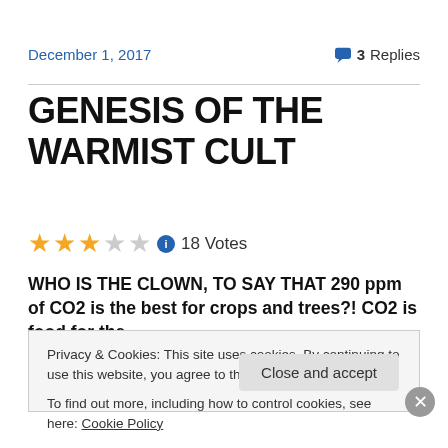December 1, 2017   3 Replies
GENESIS OF THE WARMIST CULT
18 Votes
WHO IS THE CLOWN, TO SAY THAT 290 ppm of CO2 is the best for crops and trees?! CO2 is food for the
Privacy & Cookies: This site uses cookies. By continuing to use this website, you agree to their use.
To find out more, including how to control cookies, see here: Cookie Policy